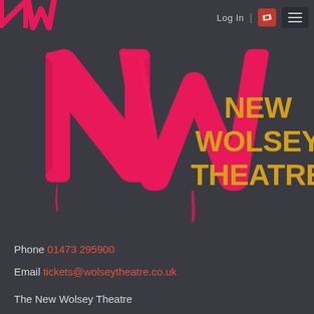[Figure (logo): New Wolsey Theatre logo — large hand-painted magenta/pink NW brushstroke letters with 'NEW WOLSEY THEATRE' in bold yellow text to the right, on a dark charcoal background. A smaller NW logo appears in the top-left corner. Navigation bar at top right shows 'Log In', a red ticket icon, and a hamburger menu.]
Phone 01473 295900
Email tickets@wolseytheatre.co.uk
The New Wolsey Theatre
Civic Drive, Ipswich, Suffolk
IP1 2AS